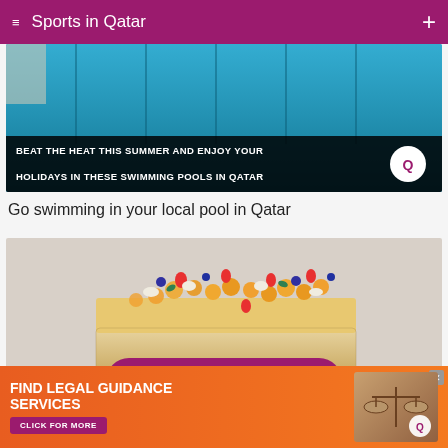Sports in Qatar
[Figure (photo): Swimming pool with lane lines, overlaid with text: BEAT THE HEAT THIS SUMMER AND ENJOY YOUR HOLIDAYS IN THESE SWIMMING POOLS IN QATAR]
Go swimming in your local pool in Qatar
[Figure (photo): Fruit cake topped with mango balls, strawberries, blueberries and cream, overlaid with text: PLACES TO BUY FRUIT CAKES IN QATAR, with Qatar Living logo]
Place
[Figure (infographic): Advertisement banner: FIND LEGAL GUIDANCE SERVICES, CLICK FOR MORE, with scales of justice image and Q logo]